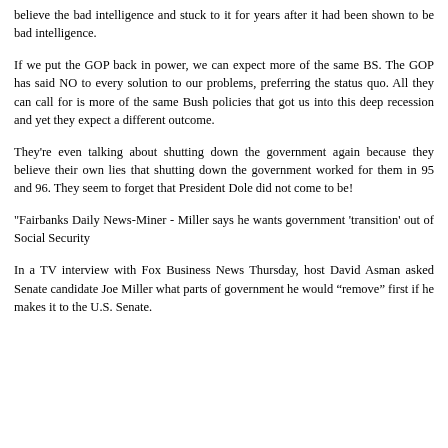believe the bad intelligence and stuck to it for years after it had been shown to be bad intelligence.
If we put the GOP back in power, we can expect more of the same BS. The GOP has said NO to every solution to our problems, preferring the status quo. All they can call for is more of the same Bush policies that got us into this deep recession and yet they expect a different outcome.
They're even talking about shutting down the government again because they believe their own lies that shutting down the government worked for them in 95 and 96. They seem to forget that President Dole did not come to be!
"Fairbanks Daily News-Miner - Miller says he wants government 'transition' out of Social Security
In a TV interview with Fox Business News Thursday, host David Asman asked Senate candidate Joe Miller what parts of government he would “remove” first if he makes it to the U.S. Senate.